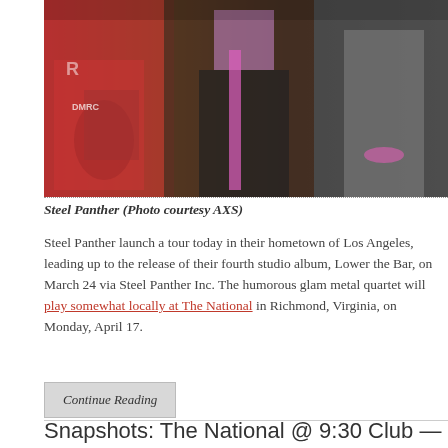[Figure (photo): Three members of Steel Panther band posing together, showing tattoos and rock style clothing]
Steel Panther (Photo courtesy AXS)
Steel Panther launch a tour today in their hometown of Los Angeles, leading up to the release of their fourth studio album, Lower the Bar, on March 24 via Steel Panther Inc. The humorous glam metal quartet will play somewhat locally at The National in Richmond, Virginia, on Monday, April 17.
Continue Reading
Snapshots: The National @ 9:30 Club — 1/19/17
Posted on January 24, 2017 by paivi in Live Review and tagged 9:30 Club, All Access Coalition, benefit show, Common, Planned Parenthood, post-punk, The National.